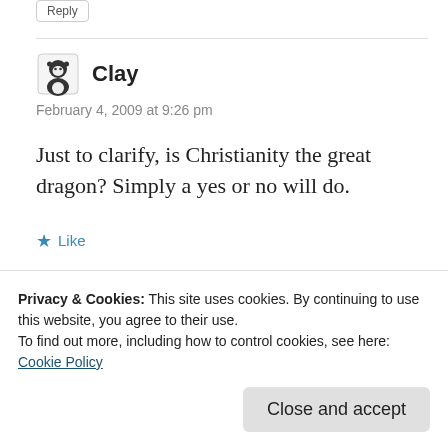Reply
Clay
February 4, 2009 at 9:26 pm
Just to clarify, is Christianity the great dragon? Simply a yes or no will do.
★ Like
Reply
Privacy & Cookies: This site uses cookies. By continuing to use this website, you agree to their use.
To find out more, including how to control cookies, see here: Cookie Policy
Close and accept